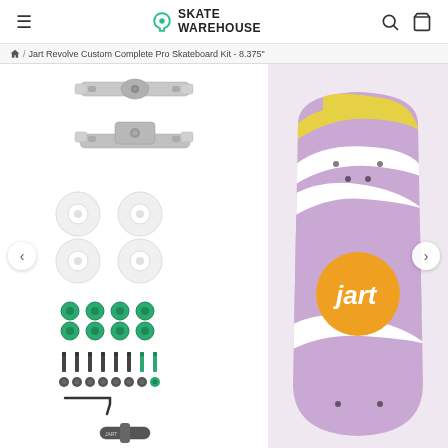Skate Warehouse
Home / Jart Revolve Custom Complete Pro Skateboard Kit - 8.375"
[Figure (photo): Product component photo showing two skateboard trucks (top and side views), four white wheels, eight green bushings/risers, hardware bolts and nuts, allen wrench, and a tool - all components of the Jart Revolve Custom Complete Pro Skateboard Kit]
[Figure (photo): Jart skateboard deck with purple/lavender marble swirl graphic, yellow accents, white swirls, and orange circular Jart logo in the center]